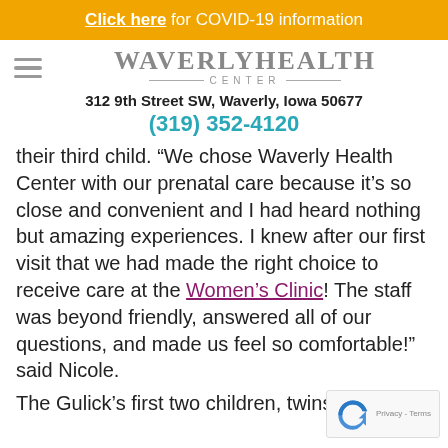Click here for COVID-19 information
[Figure (logo): Waverly Health Center logo with hamburger menu icon]
312 9th Street SW, Waverly, Iowa 50677
(319) 352-4120
their third child. “We chose Waverly Health Center with our prenatal care because it’s so close and convenient and I had heard nothing but amazing experiences. I knew after our first visit that we had made the right choice to receive care at the Women’s Clinic! The staff was beyond friendly, answered all of our questions, and made us feel so comfortable!” said Nicole.
The Gulick’s first two children, twins